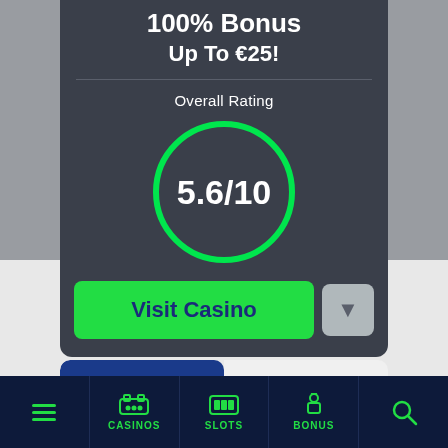100% Bonus Up To €25!
Overall Rating
[Figure (infographic): A circular badge showing rating 5.6/10 with green border on dark background]
Visit Casino
Review | More Info
CASINOS | SLOTS | BONUS